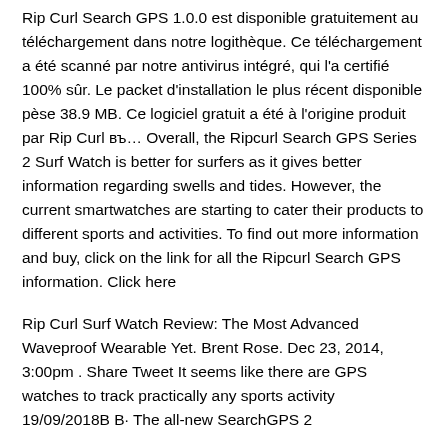Rip Curl Search GPS 1.0.0 est disponible gratuitement au téléchargement dans notre logithèque. Ce téléchargement a été scanné par notre antivirus intégré, qui l'a certifié 100% sûr. Le packet d'installation le plus récent disponible pèse 38.9 MB. Ce logiciel gratuit a été à l'origine produit par Rip Curl в… Overall, the Ripcurl Search GPS Series 2 Surf Watch is better for surfers as it gives better information regarding swells and tides. However, the current smartwatches are starting to cater their products to different sports and activities. To find out more information and buy, click on the link for all the Ripcurl Search GPS information. Click here
Rip Curl Surf Watch Review: The Most Advanced Waveproof Wearable Yet. Brent Rose. Dec 23, 2014, 3:00pm . Share Tweet It seems like there are GPS watches to track practically any sports activity 19/09/2018В В· The all-new SearchGPS 2